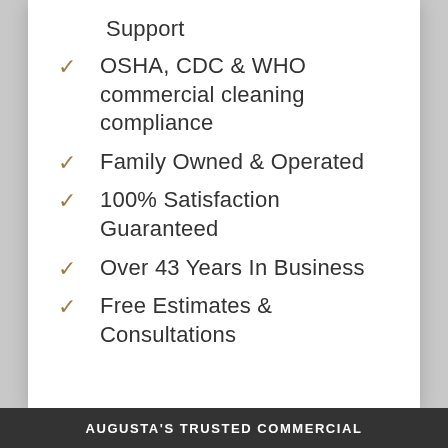Support
OSHA, CDC & WHO commercial cleaning compliance
Family Owned & Operated
100% Satisfaction Guaranteed
Over 43 Years In Business
Free Estimates & Consultations
AUGUSTA'S TRUSTED COMMERCIAL